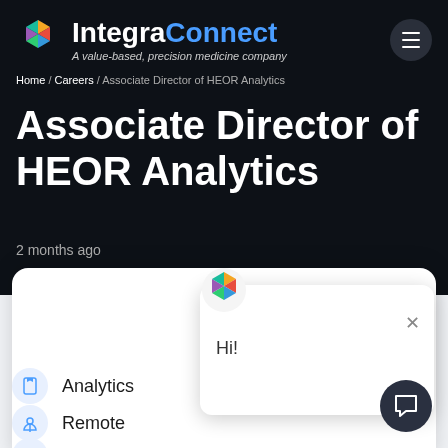[Figure (logo): IntegraConnect hexagonal logo icon with colored segments]
IntegraConnect
A value-based, precision medicine company
Home / Careers / Associate Director of HEOR Analytics
Associate Director of HEOR Analytics
2 months ago
[Figure (logo): IntegraConnect small logo in chat popup]
Hi!
Analytics
Remote
Full Ti...